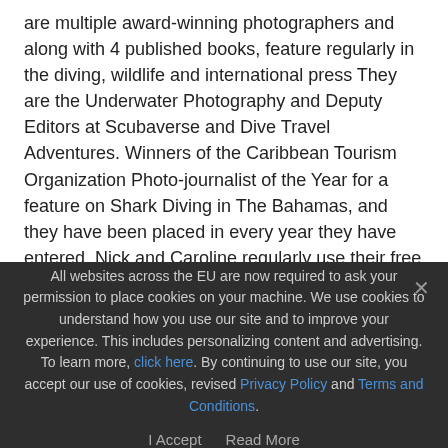are multiple award-winning photographers and along with 4 published books, feature regularly in the diving, wildlife and international press They are the Underwater Photography and Deputy Editors at Scubaverse and Dive Travel Adventures. Winners of the Caribbean Tourism Organization Photo-journalist of the Year for a feature on Shark Diving in The Bahamas, and they have been placed in every year they have entered. Nick and Caroline regularly use their free time to visit schools, both in the UK and on their travels, to discuss the important issues of marine conservation, sharks and plastic pollution. They are ambassadors for Sharks4Kids and founders of SeaStraw. They are Dive Ambassadors for The Islands of The Bahamas and are supported by Mares, Paralenz, Maritimo and Sharksox. To find out more visit
All websites across the EU are now required to ask your permission to place cookies on your machine. We use cookies to understand how you use our site and to improve your experience. This includes personalizing content and advertising. To learn more, click here. By continuing to use our site, you accept our use of cookies, revised Privacy Policy and Terms and Conditions.
I Accept   Read More